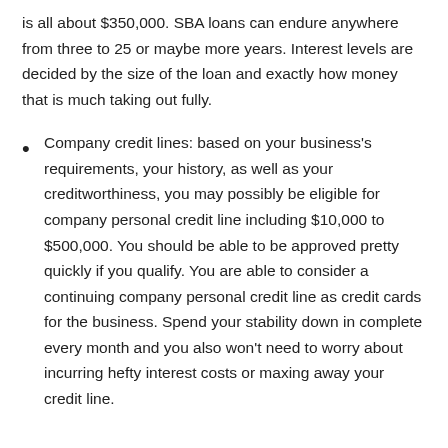is all about $350,000. SBA loans can endure anywhere from three to 25 or maybe more years. Interest levels are decided by the size of the loan and exactly how money that is much taking out fully.
Company credit lines: based on your business's requirements, your history, as well as your creditworthiness, you may possibly be eligible for company personal credit line including $10,000 to $500,000. You should be able to be approved pretty quickly if you qualify. You are able to consider a continuing company personal credit line as credit cards for the business. Spend your stability down in complete every month and you also won't need to worry about incurring hefty interest costs or maxing away your credit line.